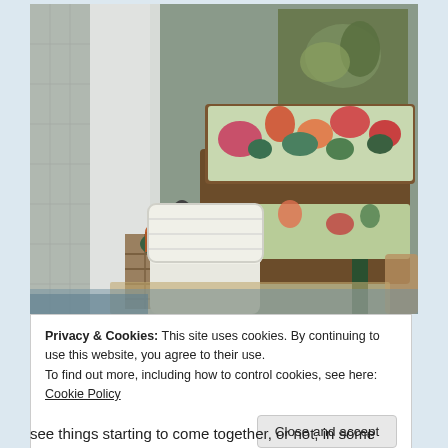[Figure (photo): Indoor porch or sunroom with wicker furniture. A wicker sofa with colorful tropical floral cushions sits against a grey wall with a botanical painting above it. A white wicker chair is in the foreground. Potted plants and decorative items sit on a rustic wooden crate side table. A green chair leg is visible to the right. A sisal rug is on the floor.]
Privacy & Cookies: This site uses cookies. By continuing to use this website, you agree to their use.
To find out more, including how to control cookies, see here: Cookie Policy
Close and accept
see things starting to come together, or not, in some